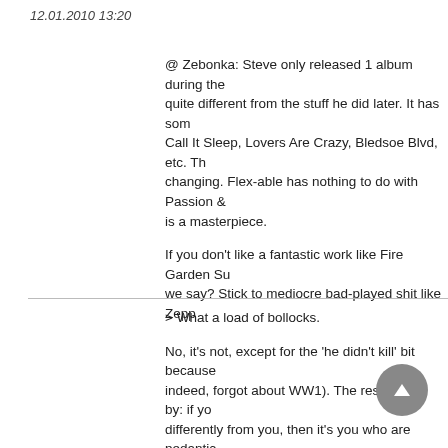12.01.2010 13:20
@ Zebonka: Steve only released 1 album during the quite different from the stuff he did later. It has som Call It Sleep, Lovers Are Crazy, Bledsoe Blvd, etc. Th changing. Flex-able has nothing to do with Passion & is a masterpiece.
If you don't like a fantastic work like Fire Garden Su we say? Stick to mediocre bad-played shit like Zepp
> What a load of bollocks.
No, it's not, except for the 'he didn't kill' bit because indeed, forgot about WW1). The rest I stand by: if yo differently from you, then it's you who are pedantic
> Hitler did kill people, he was in WW1!
Very good point. I forgot about that.
> Oh, come one... someone take this post and over